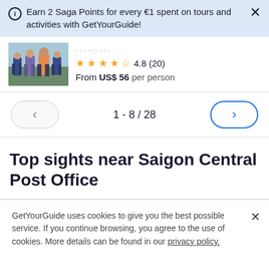Earn 2 Saga Points for every €1 spent on tours and activities with GetYourGuide!
[Figure (photo): A group of tourists standing together, wearing colorful clothes, outdoors.]
4.8 (20)
From US$ 56 per person
1 - 8 / 28
Top sights near Saigon Central Post Office
GetYourGuide uses cookies to give you the best possible service. If you continue browsing, you agree to the use of cookies. More details can be found in our privacy policy.